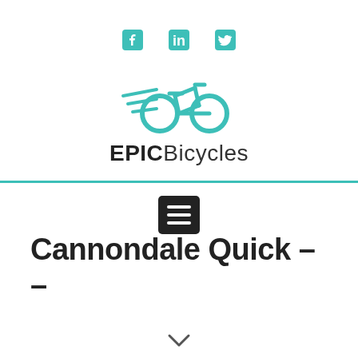[Figure (logo): Social media icons: Facebook, LinkedIn, Twitter in teal rounded square style]
[Figure (logo): EPIC Bicycles logo with teal winged bicycle icon above the text EPIC Bicycles]
[Figure (other): Hamburger menu button (three horizontal lines on dark background)]
Cannondale Quick –